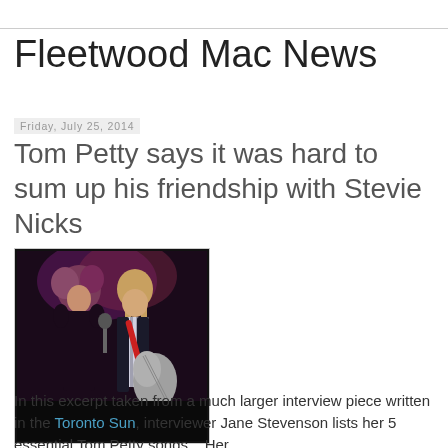Fleetwood Mac News
Friday, July 25, 2014
Tom Petty says it was hard to sum up his friendship with Stevie Nicks
[Figure (photo): Photo of two performers on stage: a woman with curly hair in a black outfit and a man with long hair playing a guitar with a red strap]
In this excerpt taken from a much larger interview piece written in the Toronto Sun, interviewer Jane Stevenson lists her 5 essential Tom Petty songs... Her